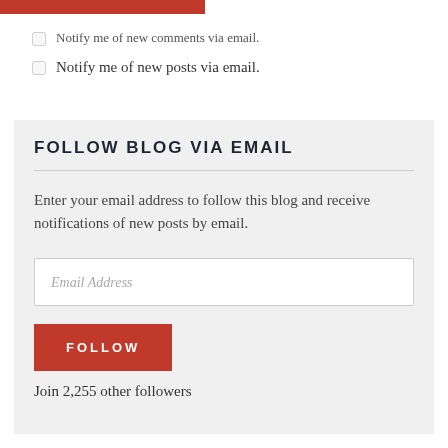[Figure (other): Red button/bar at top of page]
Notify me of new comments via email.
Notify me of new posts via email.
FOLLOW BLOG VIA EMAIL
Enter your email address to follow this blog and receive notifications of new posts by email.
Email Address
FOLLOW
Join 2,255 other followers